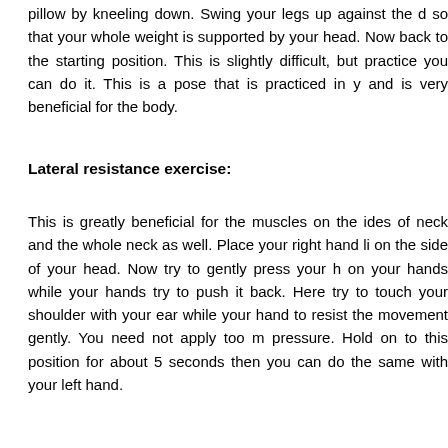pillow by kneeling down. Swing your legs up against the d so that your whole weight is supported by your head. Now back to the starting position. This is slightly difficult, but practice you can do it. This is a pose that is practiced in y and is very beneficial for the body.
Lateral resistance exercise:
This is greatly beneficial for the muscles on the ides of neck and the whole neck as well. Place your right hand li on the side of your head. Now try to gently press your h on your hands while your hands try to push it back. Here try to touch your shoulder with your ear while your hand to resist the movement gently. You need not apply too m pressure. Hold on to this position for about 5 seconds then you can do the same with your left hand.